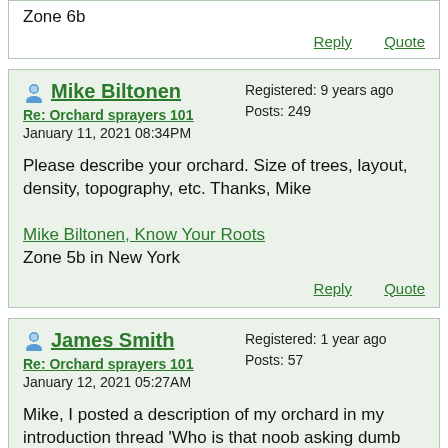Zone 6b
Reply   Quote
Mike Biltonen
Registered: 9 years ago
Posts: 249
Re: Orchard sprayers 101
January 11, 2021 08:34PM
Please describe your orchard. Size of trees, layout, density, topography, etc. Thanks, Mike
Mike Biltonen, Know Your Roots
Zone 5b in New York
Reply   Quote
James Smith
Registered: 1 year ago
Posts: 57
Re: Orchard sprayers 101
January 12, 2021 05:27AM
Mike, I posted a description of my orchard in my introduction thread 'Who is that noob asking dumb questions?' in the Just Talk section. Unfortunately the